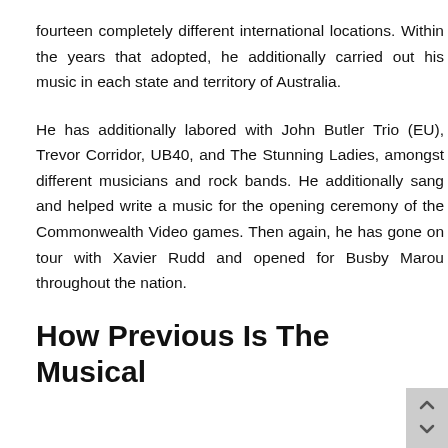fourteen completely different international locations. Within the years that adopted, he additionally carried out his music in each state and territory of Australia.
He has additionally labored with John Butler Trio (EU), Trevor Corridor, UB40, and The Stunning Ladies, amongst different musicians and rock bands. He additionally sang and helped write a music for the opening ceremony of the Commonwealth Video games. Then again, he has gone on tour with Xavier Rudd and opened for Busby Marou throughout the nation.
How Previous Is The Musical